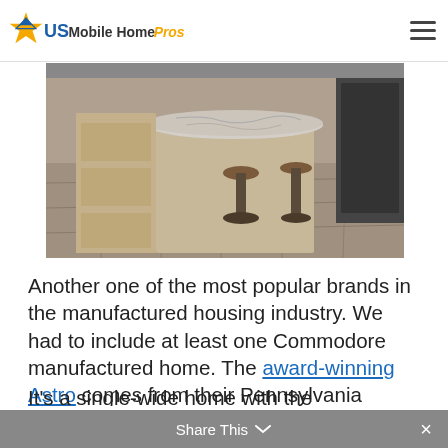US Mobile Home Pros
[Figure (photo): Interior kitchen photo showing a large marble-topped island with bar stools on a tile floor.]
Another one of the most popular brands in the manufactured housing industry. We had to include at least one Commodore manufactured home. The award-winning Astro comes from their Pennsylvania division. It won the 2017 Manufactured Housing Institute award for Manufactured Home Design in the Single-Section category.
It's a single-wide home with the
Share This  ×